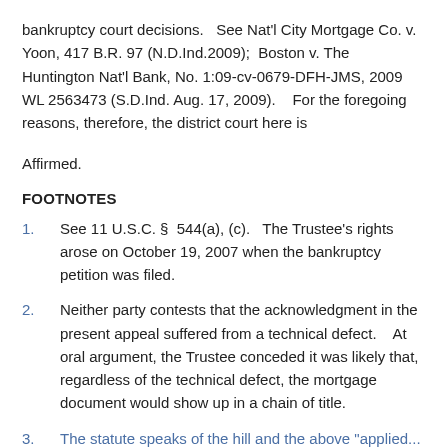bankruptcy court decisions.  See Nat'l City Mortgage Co. v. Yoon, 417 B.R. 97 (N.D.Ind.2009);  Boston v. The Huntington Nat'l Bank, No. 1:09-cv-0679-DFH-JMS, 2009 WL 2563473 (S.D.Ind. Aug. 17, 2009).   For the foregoing reasons, therefore, the district court here is
Affirmed.
FOOTNOTES
1.    See 11 U.S.C. § 544(a), (c).  The Trustee's rights arose on October 19, 2007 when the bankruptcy petition was filed.
2.    Neither party contests that the acknowledgment in the present appeal suffered from a technical defect.   At oral argument, the Trustee conceded it was likely that, regardless of the technical defect, the mortgage document would show up in a chain of title.
3.    The statute speaks of the hill and the above "applied...